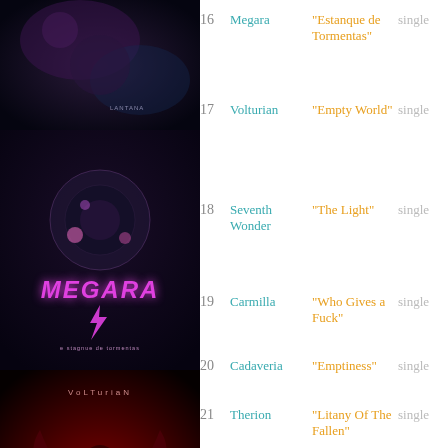[Figure (illustration): Left column with stacked album covers: Megara (dark background with 'MEGARA' in pink/magenta, Volturian (dark red with figure), Seventh Wonder (wintry/icy)]
16  Megara  "Estanque de Tormentas"  single
17  Volturian  "Empty World"  single
18  Seventh Wonder  "The Light"  single
19  Carmilla  "Who Gives a Fuck"  single
20  Cadaveria  "Emptiness"  single
21  Therion  "Litany Of The Fallen"  single